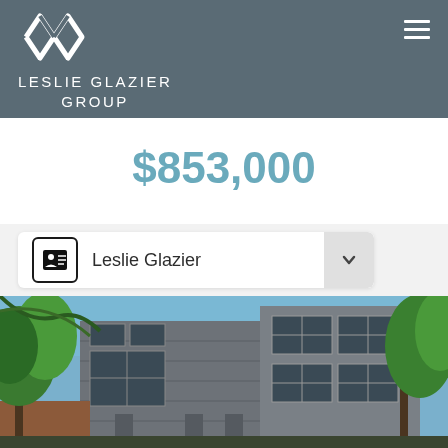LESLIE GLAZIER GROUP
$853,000
Leslie Glazier
[Figure (photo): Exterior photo of a modern multi-story brick and glass building with trees in foreground and blue sky background. The building has large windows and an urban architectural style.]